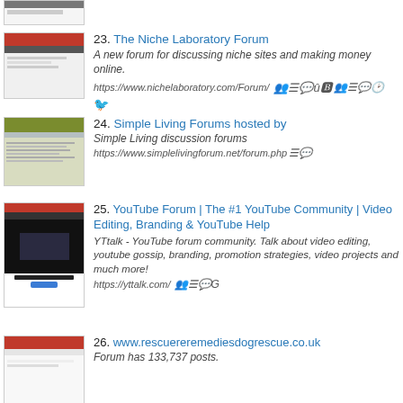[Figure (screenshot): Partial screenshot of a website at top of page (cropped)]
23. The Niche Laboratory Forum — A new forum for discussing niche sites and making money online. https://www.nichelaboratory.com/Forum/
[Figure (screenshot): Screenshot of Simple Living Forums website]
24. Simple Living Forums hosted by — Simple Living discussion forums https://www.simplelivingforum.net/forum.php
[Figure (screenshot): Screenshot of YTtalk YouTube forum website]
25. YouTube Forum | The #1 YouTube Community | Video Editing, Branding & YouTube Help — YTtalk - YouTube forum community. Talk about video editing, youtube gossip, branding, promotion strategies, video projects and much more! https://yttalk.com/
[Figure (screenshot): Screenshot of rescueremedies dog rescue website (partial)]
26. www.rescuereremediesdogrescue.co.uk — Forum has 133,737 posts.